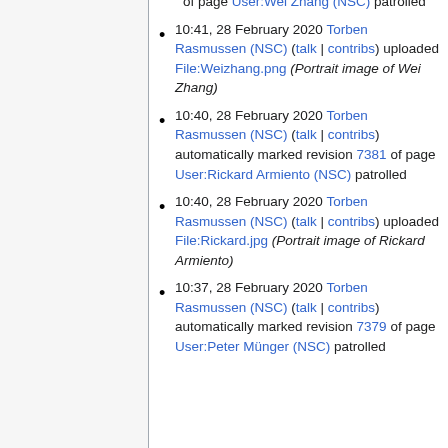of page User:Wei Zhang (NSC) patrolled
10:41, 28 February 2020 Torben Rasmussen (NSC) (talk | contribs) uploaded File:Weizhang.png (Portrait image of Wei Zhang)
10:40, 28 February 2020 Torben Rasmussen (NSC) (talk | contribs) automatically marked revision 7381 of page User:Rickard Armiento (NSC) patrolled
10:40, 28 February 2020 Torben Rasmussen (NSC) (talk | contribs) uploaded File:Rickard.jpg (Portrait image of Rickard Armiento)
10:37, 28 February 2020 Torben Rasmussen (NSC) (talk | contribs) automatically marked revision 7379 of page User:Peter Münger (NSC) patrolled